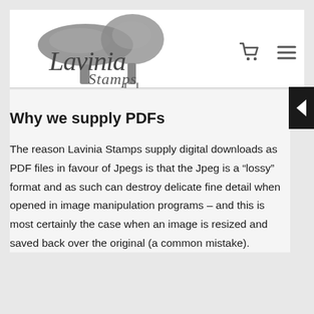[Figure (logo): Lavinia Stamps logo with mushroom illustration and stylized text]
Why we supply PDFs
The reason Lavinia Stamps supply digital downloads as PDF files in favour of Jpegs is that the Jpeg is a “lossy” format and as such can destroy delicate fine detail when opened in image manipulation programs – and this is most certainly the case when an image is resized and saved back over the original (a common mistake).